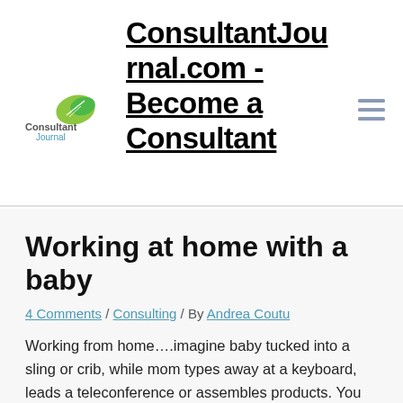ConsultantJournal.com - Become a Consultant
Working at home with a baby
4 Comments / Consulting / By Andrea Coutu
Working from home….imagine baby tucked into a sling or crib, while mom types away at a keyboard, leads a teleconference or assembles products. You might wonder if working from home really turns out to be so